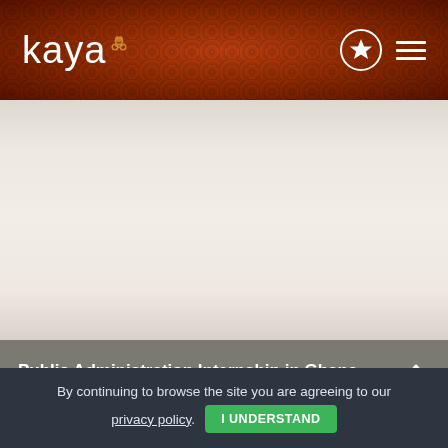kaya
[Figure (screenshot): Kaya website screenshot showing a gradient background content area (off-white/cream colored) that is mostly blank, below the navigation header.]
Public Administration Internship in Ghana
By continuing to browse the site you are agreeing to our privacy policy. I UNDERSTAND